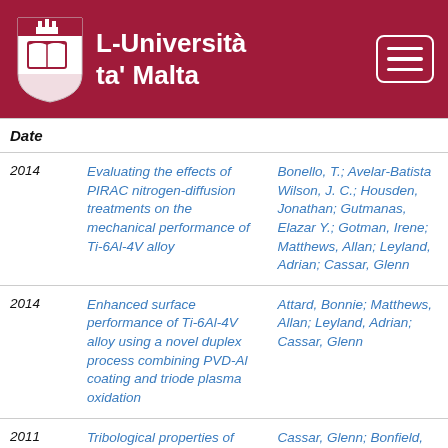L-Università ta' Malta
| Date | (title) | (authors) |
| --- | --- | --- |
| 2014 | Evaluating the effects of PIRAC nitrogen-diffusion treatments on the mechanical performance of Ti-6Al-4V alloy | Bonello, T.; Avelar-Batista Wilson, J. C.; Housden, Jonathan; Gutmanas, Elazar Y.; Gotman, Irene; Matthews, Allan; Leyland, Adrian; Cassar, Glenn |
| 2014 | Enhanced surface performance of Ti-6Al-4V alloy using a novel duplex process combining PVD-Al coating and triode plasma oxidation | Attard, Bonnie; Matthews, Allan; Leyland, Adrian; Cassar, Glenn |
| 2011 | Tribological properties of duplex plasma oxidised... | Cassar, Glenn; Bonfield, Sarah; |